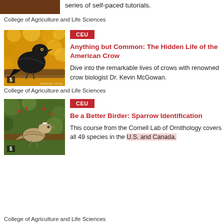series of self-paced tutorials.
College of Agriculture and Life Sciences
[Figure (photo): American Crow perched on a branch with yellow autumn foliage background]
CEU
Anything but Common: The Hidden Life of the American Crow
Dive into the remarkable lives of crows with renowned crow biologist Dr. Kevin McGowan.
College of Agriculture and Life Sciences
[Figure (photo): White-crowned Sparrow perched on a branch with green foliage background]
CEU
Be a Better Birder: Sparrow Identification
This course from the Cornell Lab of Ornithology covers all 49 species in the U.S. and Canada.
College of Agriculture and Life Sciences